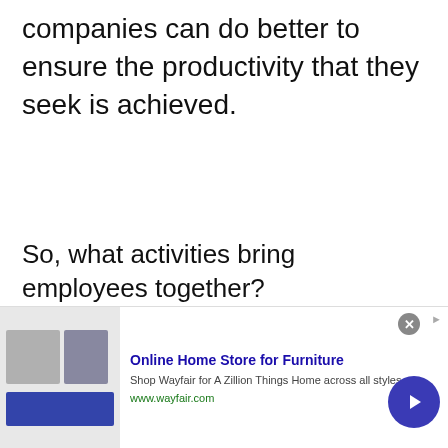companies can do better to ensure the productivity that they seek is achieved.
So, what activities bring employees together?
[Figure (other): Advertisement banner for Wayfair Online Home Store for Furniture with image of appliances, title 'Online Home Store for Furniture', description 'Shop Wayfair for A Zillion Things Home across all styles', URL 'www.wayfair.com', close button, and play button.]